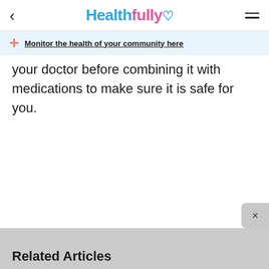Healthfully
Monitor the health of your community here
your doctor before combining it with medications to make sure it is safe for you.
Related Articles